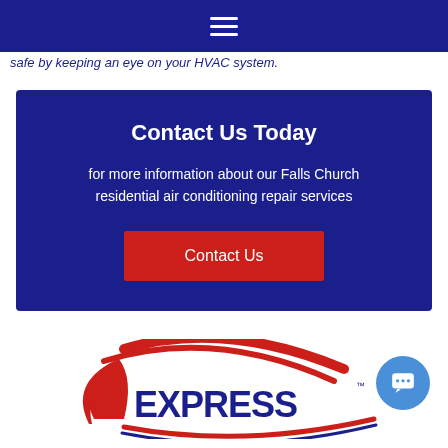Navigation menu (hamburger icon)
safe by keeping an eye on your HVAC system.
Contact Us Today
for more information about our Falls Church residential air conditioning repair services
Contact Us
[Figure (logo): Express logo in red and dark blue with swoosh graphic]